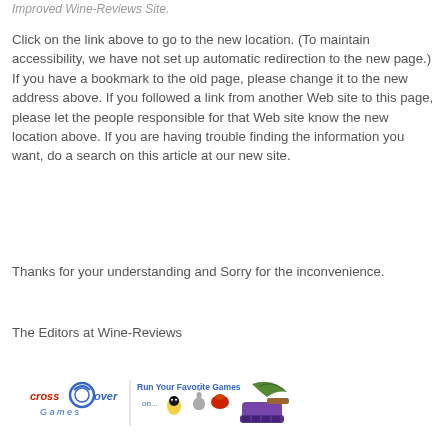Improved Wine-Reviews Site.
Click on the link above to go to the new location. (To maintain accessibility, we have not set up automatic redirection to the new page.) If you have a bookmark to the old page, please change it to the new address above. If you followed a link from another Web site to this page, please let the people responsible for that Web site know the new location above. If you are having trouble finding the information you want, do a search on this article at our new site.
Thanks for your understanding and Sorry for the inconvenience.
The Editors at Wine-Reviews
[Figure (illustration): CrossOver Games advertisement banner: logo with text 'crossover Games', 'Run Your Favorite Games on...' with Linux, Apple, and RedHat icons, and a purple/green tank/shoe illustration]